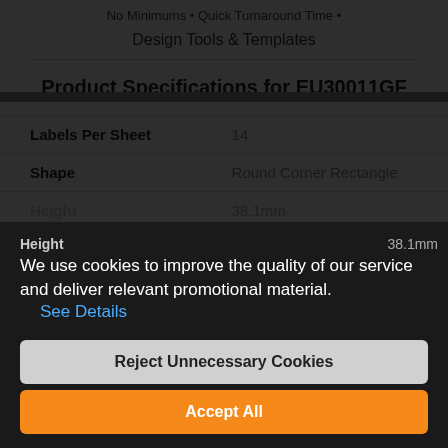No Minimums • Quick Turnaround Time •
Design Tools & Templates
Product Specifications for EU30011GF
| Specification | Value |
| --- | --- |
| Labels Per Sheet | 14 |
| Shape | Round Corner Rectangle |
| Height | 38.1mm |
| Length |  |
| Shoe Size |  |
| Horizontal Spacing |  |
| Vertical Spacing | 0mm |
We use cookies to improve the quality of our service and deliver relevant promotional material.
See Details
Reject Unnecessary Cookies
Accept All